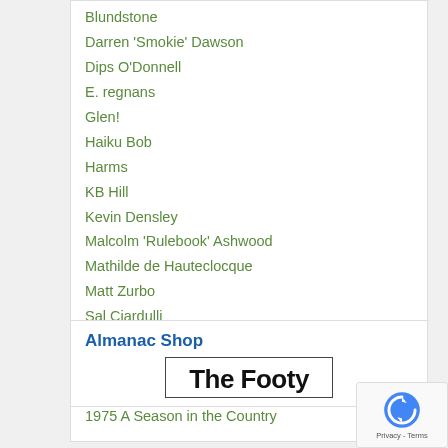Blundstone
Darren 'Smokie' Dawson
Dips O'Donnell
E. regnans
Glen!
Haiku Bob
Harms
KB Hill
Kevin Densley
Malcolm 'Rulebook' Ashwood
Mathilde de Hauteclocque
Matt Zurbo
Sal Ciardulli
Stereo Stories
Swish Schwerdt
Yvette Wroby
1975 A Season in the Country
Almanac Shop
[Figure (other): Book cover image showing 'The Footy' text in bold black font inside a bordered box]